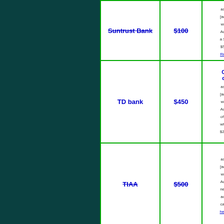| Bank | Bonus | Details |
| --- | --- | --- |
| Suntrust Bank | $100 | asy... [ads... win... Aug... a $2... $50... Rea... |
| TD bank | $450 | O... d...
asy... [ads... win... Aug... of a... whe... $2,5... |
| TIAA | $500 | asy... [ads... win... Aug... new... acc... calli... here... |
| Technology Credit Union | $150 | asy... [ads... win... |